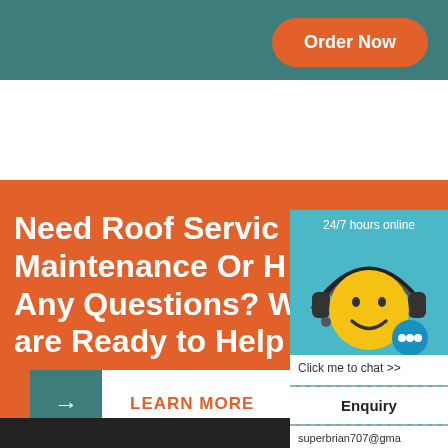Order Now
Need Roof Service, Maintenance Or Have Any Questions? We are Ready to Help
LEARN MORE
24/7 hours online
[Figure (illustration): Yellow smiley face with headset, customer support mascot with chat bubble]
Click me to chat >>
Enquiry
superbrian707@gma